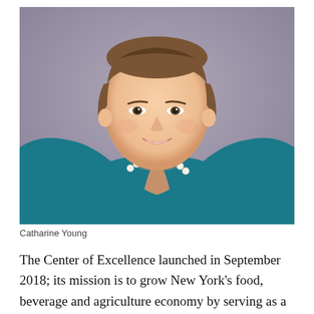[Figure (photo): Professional headshot portrait of Catharine Young, a woman with short brown hair wearing a teal/blue blazer and pearl necklace, smiling, photographed against a blurred grey-purple background.]
Catharine Young
The Center of Excellence launched in September 2018; its mission is to grow New York’s food, beverage and agriculture economy by serving as a hub for New York